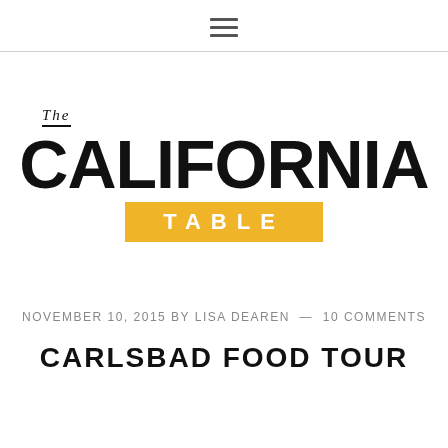≡ (hamburger menu icon)
[Figure (logo): The California Table logo: 'THE' in italic serif above 'CALIFORNIA' in large bold sans-serif, with 'TABLE' in white on a yellow/golden rectangular background]
NOVEMBER 10, 2015 BY LISA DEAREN — 10 COMMENTS
CARLSBAD FOOD TOUR